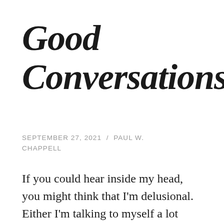Good Conversations
SEPTEMBER 27, 2021 / PAUL W. CHAPPELL
If you could hear inside my head, you might think that I'm delusional. Either I'm talking to myself a lot these days, or I'm hearing voices